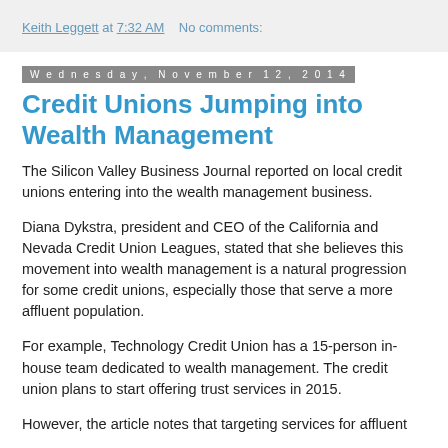Keith Leggett at 7:32 AM   No comments:
Wednesday, November 12, 2014
Credit Unions Jumping into Wealth Management
The Silicon Valley Business Journal reported on local credit unions entering into the wealth management business.
Diana Dykstra, president and CEO of the California and Nevada Credit Union Leagues, stated that she believes this movement into wealth management is a natural progression for some credit unions, especially those that serve a more affluent population.
For example, Technology Credit Union has a 15-person in-house team dedicated to wealth management. The credit union plans to start offering trust services in 2015.
However, the article notes that targeting services for affluent